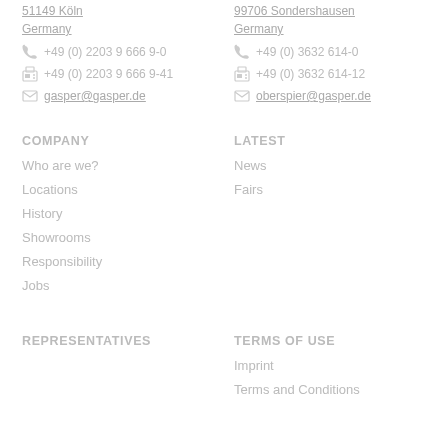51149 Köln
99706 Sondershausen
Germany
Germany
+49 (0) 2203 9 666 9-0
+49 (0) 3632 614-0
+49 (0) 2203 9 666 9-41
+49 (0) 3632 614-12
gasper@gasper.de
oberspier@gasper.de
COMPANY
LATEST
Who are we?
News
Locations
Fairs
History
Showrooms
Responsibility
Jobs
REPRESENTATIVES
TERMS OF USE
Imprint
Terms and Conditions